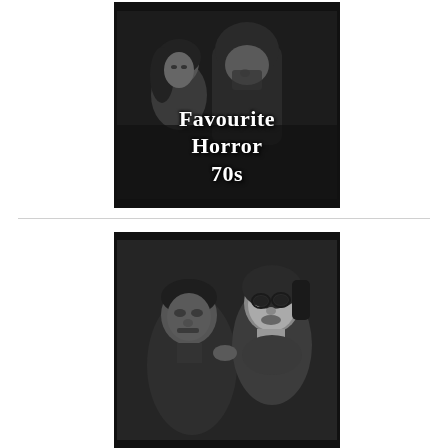[Figure (photo): Black and white photo of two people, one with long hair holding something near their face, with bold white text overlay reading 'Favourite Horror 70s']
[Figure (photo): Black and white photo of two people facing each other closely, one appearing to be a monster or creature with pale face]